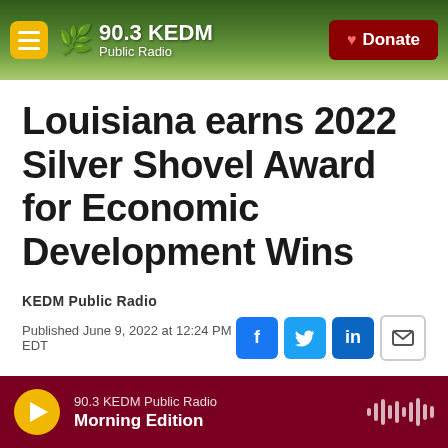90.3 KEDM Public Radio — Donate
Louisiana earns 2022 Silver Shovel Award for Economic Development Wins
KEDM Public Radio
Published June 9, 2022 at 12:24 PM EDT
90.3 KEDM Public Radio — Morning Edition